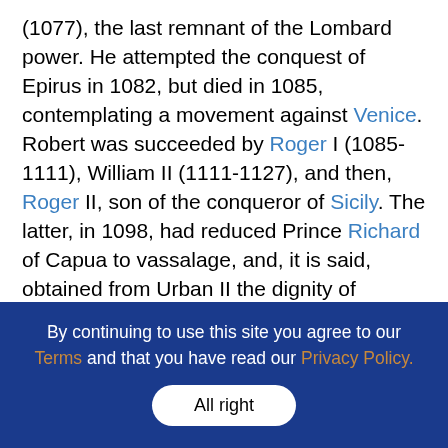(1077), the last remnant of the Lombard power. He attempted the conquest of Epirus in 1082, but died in 1085, contemplating a movement against Venice. Robert was succeeded by Roger I (1085-1111), William II (1111-1127), and then, Roger II, son of the conqueror of Sicily. The latter, in 1098, had reduced Prince Richard of Capua to vassalage, and, it is said, obtained from Urban II the dignity of hereditary legate of the Holy See (see Monarchia Sicula); and his son Roger II became duke of all those states, with Palermo for his capital. In 1130 the antipope, Anacletus II, conferred upon him the title of king, confirmed by Innocent II (1139), to whom Roger renewed the oath of allegiance. On the other hand,
By continuing to use this site you agree to our Terms and that you have read our Privacy Policy.
All right